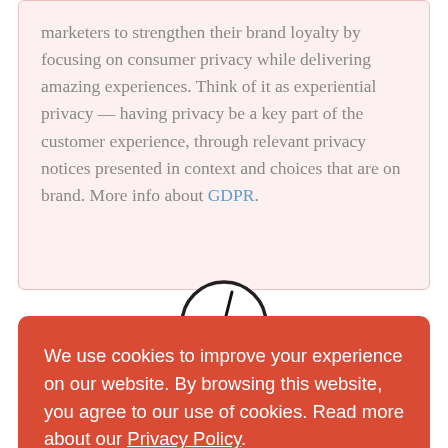marketers to strengthen their brand loyalty by focusing on consumer privacy while delivering amazing experiences. Think of it as experiential privacy — having privacy be a key part of the customer experience, through relevant privacy notices presented in context and choices that are on brand. More info about GDPR.
[Figure (illustration): A hand-drawn clock icon showing approximately 5 o'clock]
We use cookies to improve your experience on our website. By browsing this website, you agree to our use of cookies. Read more about our Privacy Policy.
I accept
[business name] is committed to ensuring that your privacy